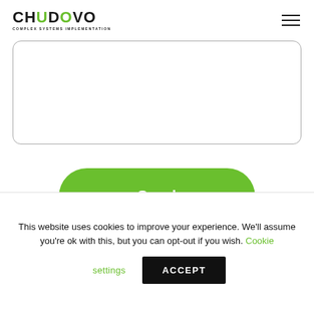CHUDOVO COMPLEX SYSTEMS IMPLEMENTATION
[Figure (other): Textarea input field with rounded border]
[Figure (other): Green rounded Send button]
This website uses cookies to improve your experience. We'll assume you're ok with this, but you can opt-out if you wish. Cookie settings ACCEPT